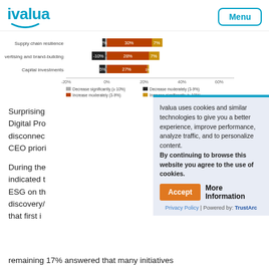ivalua | Menu
[Figure (bar-chart): Budget change intentions]
Surprising Digital Pro disconnect CEO priori
During the indicated t ESG on th discovery/ that first i remaining 17% answered that many initiatives
[Figure (other): Cookie consent overlay from Ivalua website: Ivalua uses cookies and similar technologies to give you a better experience, improve performance, analyze traffic, and to personalize content. By continuing to browse this website you agree to the use of cookies. Accept | More Information | Privacy Policy | Powered by: TrustArc]